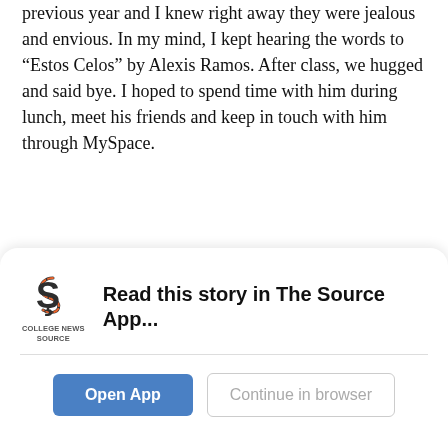previous year and I knew right away they were jealous and envious. In my mind, I kept hearing the words to “Estos Celos” by Alexis Ramos. After class, we hugged and said bye. I hoped to spend time with him during lunch, meet his friends and keep in touch with him through MySpace.
I knew I had to keep in touch with him on MySpace. During our conversation that day, he mentioned he was moving to New Jersey at the end of the month. I gave him my e-mail address for him to find me.
Friday came. He didn’t show up. Then, Monday and he still wasn’t in school.
During the middle of the week, it hit me when I was sitting in what
[Figure (screenshot): App download banner with College News Source logo, headline 'Read this story in The Source App...', an 'Open App' button and 'Continue in browser' button.]